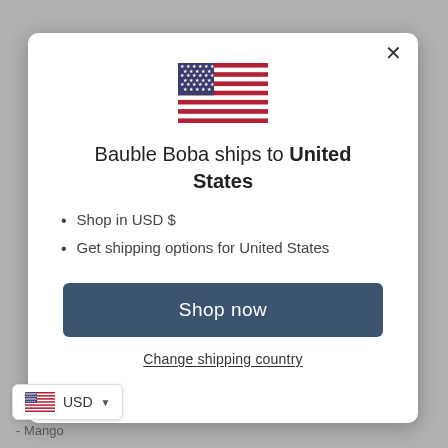[Figure (screenshot): Modal dialog on a gray background showing Bauble Boba ships to United States with US flag, bullet points, Shop now button, Change shipping country link, and USD currency widget]
Bauble Boba ships to United States
Shop in USD $
Get shipping options for United States
Shop now
Change shipping country
USD
- Mango